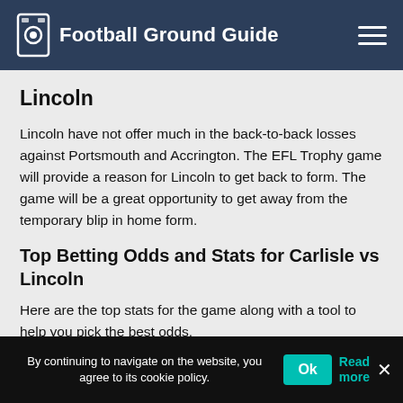Football Ground Guide
Lincoln
Lincoln have not offer much in the back-to-back losses against Portsmouth and Accrington. The EFL Trophy game will provide a reason for Lincoln to get back to form. The game will be a great opportunity to get away from the temporary blip in home form.
Top Betting Odds and Stats for Carlisle vs Lincoln
Here are the top stats for the game along with a tool to help you pick the best odds.
By continuing to navigate on the website, you agree to its cookie policy. Ok  Read more  ×